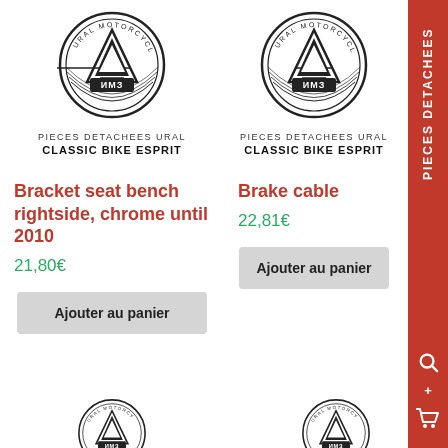[Figure (logo): Ural Motorcycles circular logo with mountain and IMZ emblem, left column]
PIECES DETACHEES URAL
CLASSIC BIKE ESPRIT
[Figure (logo): Ural Motorcycles circular logo with mountain and IMZ emblem, right column]
PIECES DETACHEES URAL
CLASSIC BIKE ESPRIT
Bracket seat bench rightside, chrome until 2010
21,80€
Ajouter au panier
Brake cable
22,81€
Ajouter au panier
[Figure (logo): Partial Ural Motorcycles logo, bottom left]
[Figure (logo): Partial Ural Motorcycles logo, bottom right]
PIECES DETACHEES